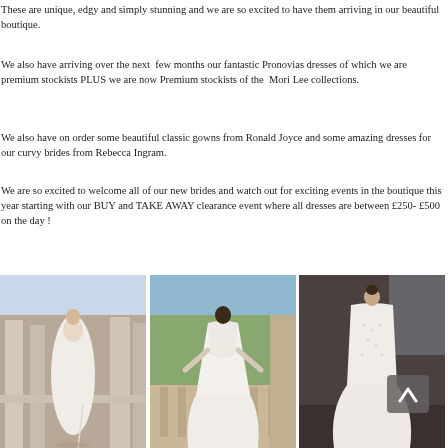These are unique, edgy and simply stunning and we are so excited to have them arriving in our beautiful boutique.
We also have arriving over the next few months our fantastic Pronovias dresses of which we are premium stockists PLUS we are now Premium stockists of the Mori Lee collections.
We also have on order some beautiful classic gowns from Ronald Joyce and some amazing dresses for our curvy brides from Rebecca Ingram.
We are so excited to welcome all of our new brides and watch out for exciting events in the boutique this year starting with our BUY and TAKE AWAY clearance event where all dresses are between £250- £500 on the day !
[Figure (photo): Wedding dress photo 1 - slim white gown with one shoulder strap, outdoor setting with columns]
[Figure (photo): Wedding dress photo 2 - white gown viewed from back, balcony with greenery]
[Figure (photo): Wedding dress photo 3 - lace mermaid gown indoors with dark background, scroll-to-top button overlay]